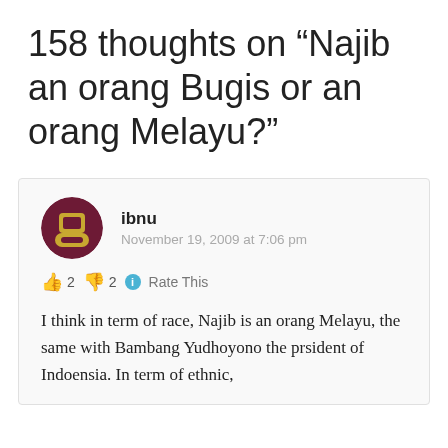158 thoughts on “Najib an orang Bugis or an orang Melayu?”
ibnu
November 19, 2009 at 7:06 pm
👍 2 👎 2 ℹ Rate This
I think in term of race, Najib is an orang Melayu, the same with Bambang Yudhoyono the prsident of Indoensia. In term of ethnic,